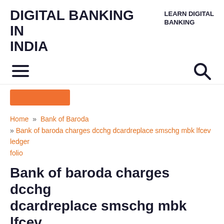DIGITAL BANKING IN INDIA
LEARN DIGITAL BANKING
[Figure (other): Hamburger menu icon and search icon in navigation bar]
[Figure (other): Orange button partially visible]
Home » Bank of Baroda » Bank of baroda charges dcchg dcardreplace smschg mbk lfcev ledger folio
Bank of baroda charges dcchg dcardreplace smschg mbk lfcev ledger folio
PRATIBHA | MARCH 29, 2021 | 0 COMMENTS